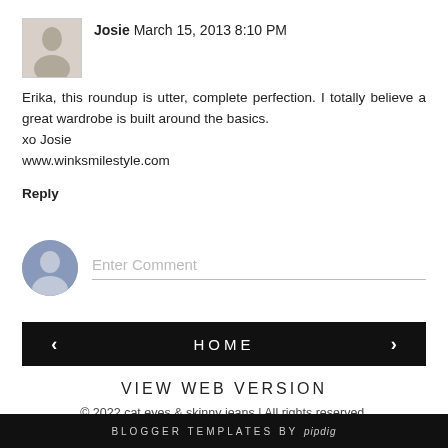Josie March 15, 2013 8:10 PM
Erika, this roundup is utter, complete perfection. I totally believe a great wardrobe is built around the basics.
xo Josie
www.winksmilestyle.com
Reply
Enter Comment
HOME
VIEW WEB VERSION
© 2022 cat eyes & skinny jeans | All rights reserved.
BLOGGER TEMPLATES BY pipdig